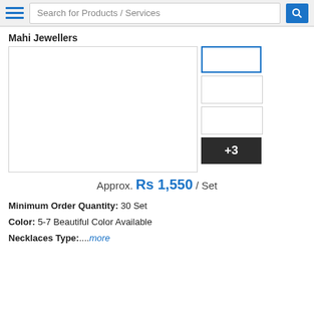Search for Products / Services
Mahi Jewellers
[Figure (photo): Product listing page showing main product image area and thumbnail images with +3 overlay indicating more images]
Approx. Rs 1,550 / Set
Minimum Order Quantity: 30 Set
Color: 5-7 Beautiful Color Available
Necklaces Type:....more